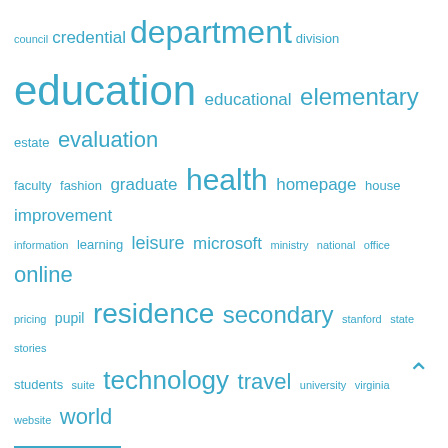[Figure (infographic): Tag cloud with education-related terms in varying font sizes, all in teal/blue color. Terms include: council, credential, department, division, education, educational, elementary, estate, evaluation, faculty, fashion, graduate, health, homepage, house, improvement, information, learning, leisure, microsoft, ministry, national, office, online, pricing, pupil, residence, secondary, stanford, state, stories, students, suite, technology, travel, university, virginia, website, world]
About Us
Sitemap
Disclosure Policy
Advertise Here
Contact Us
Partner Links